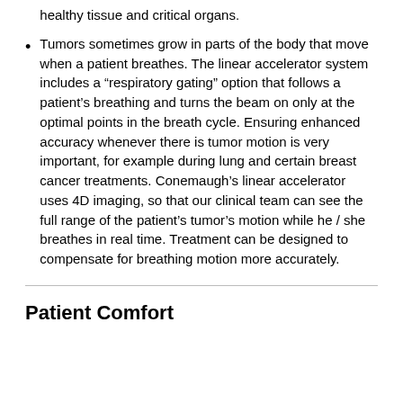healthy tissue and critical organs.
Tumors sometimes grow in parts of the body that move when a patient breathes. The linear accelerator system includes a “respiratory gating” option that follows a patient’s breathing and turns the beam on only at the optimal points in the breath cycle. Ensuring enhanced accuracy whenever there is tumor motion is very important, for example during lung and certain breast cancer treatments. Conemaugh’s linear accelerator uses 4D imaging, so that our clinical team can see the full range of the patient’s tumor’s motion while he / she breathes in real time. Treatment can be designed to compensate for breathing motion more accurately.
Patient Comfort